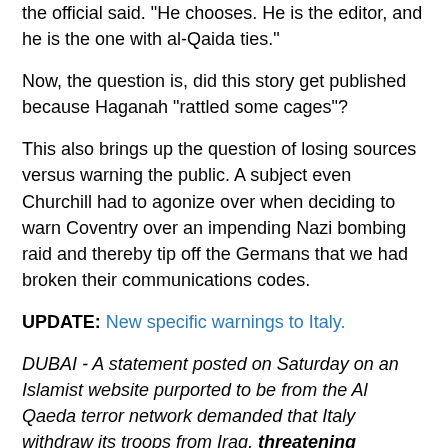the official said. "He chooses. He is the editor, and he is the one with al-Qaida ties."
Now, the question is, did this story get published because Haganah "rattled some cages"?
This also brings up the question of losing sources versus warning the public. A subject even Churchill had to agonize over when deciding to warn Coventry over an impending Nazi bombing raid and thereby tip off the Germans that we had broken their communications codes.
UPDATE: New specific warnings to Italy.
DUBAI - A statement posted on Saturday on an Islamist website purported to be from the Al Qaeda terror network demanded that Italy withdraw its troops from Iraq, threatening otherwise a series of car bomb attacks.
"O Italian people, your government has participated in the war on Iraq and sent troops and arsenal to our country. We urge you for the last time to demand that it withdraw...